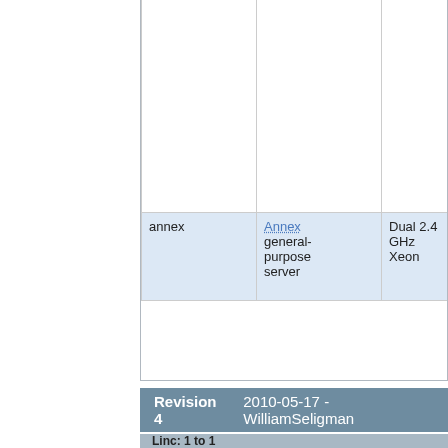|  |  | Dual 2.4 GHz Xeon | 1 GB | 250 GB |  |
| --- | --- | --- | --- | --- | --- |
|  |  |  |  |  | fiction Amo best storri Sca Live . |
| annex | Annex general-purpose server | Dual 2.4 GHz Xeon | 1 GB | 250 GB | som we h use prac nam |
Revision 4    2010-05-17 - WilliamSeligman
Linc: 1 to 1